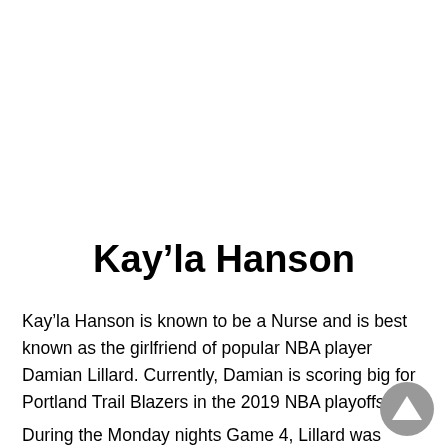Kay’la Hanson
Kay’la Hanson is known to be a Nurse and is best known as the girlfriend of popular NBA player Damian Lillard. Currently, Damian is scoring big for Portland Trail Blazers in the 2019 NBA playoffs.
During the Monday nights Game 4, Lillard was the